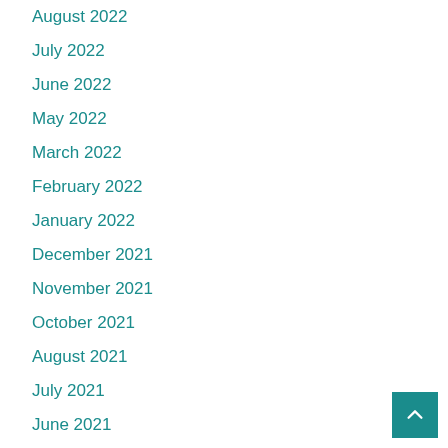August 2022
July 2022
June 2022
May 2022
March 2022
February 2022
January 2022
December 2021
November 2021
October 2021
August 2021
July 2021
June 2021